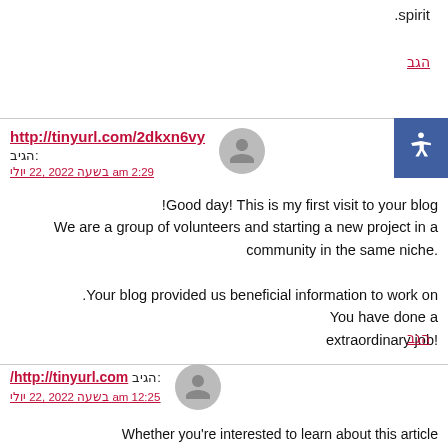spirit.
הגב
http://tinyurl.com/2dkxn6vy הגיב: יולי 22, 2022 בשעה 2:29 am
Good day! This is my first visit to your blog! We are a group of volunteers and starting a new project in a community in the same niche. Your blog provided us beneficial information to work on. You have done a extraordinary job!
הגב
/http://tinyurl.com הגיב: יולי 22, 2022 בשעה 12:25 am
Whether you're interested to learn about this article